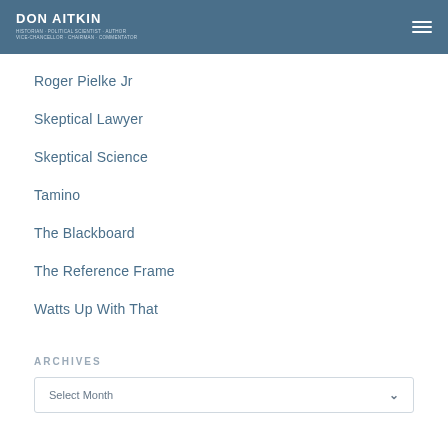DON AITKIN
Roger Pielke Jr
Skeptical Lawyer
Skeptical Science
Tamino
The Blackboard
The Reference Frame
Watts Up With That
ARCHIVES
Select Month